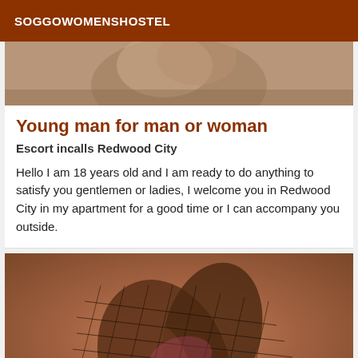SOGGOWOMENSHOSTEL
[Figure (photo): Partial close-up photo of a person's face, cropped at top]
Young man for man or woman
Escort incalls Redwood City
Hello I am 18 years old and I am ready to do anything to satisfy you gentlemen or ladies, I welcome you in Redwood City in my apartment for a good time or I can accompany you outside.
[Figure (photo): Photo of legs wearing fishnet stockings against a warm brown/tan background]